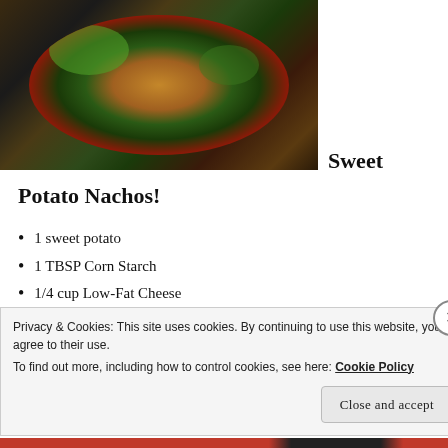[Figure (photo): Top-down photo of a cast iron skillet with sweet potato nachos topped with black beans, diced avocado, cherry tomatoes, and purple onion]
Sweet Potato Nachos!
1 sweet potato
1 TBSP Corn Starch
1/4 cup Low-Fat Cheese
1/4 cup diced onion (I prefer purple to provide more color to my nachos)
1/2 cup diced cherry tomatoes
1/2 avocado diced
Privacy & Cookies: This site uses cookies. By continuing to use this website, you agree to their use.
To find out more, including how to control cookies, see here: Cookie Policy